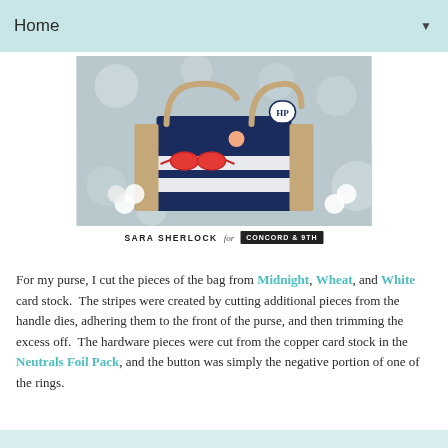Home
[Figure (photo): A crafted miniature navy and white striped purse with beige handles, red sunglasses, peach button, and an HP tag charm, displayed with white flowers on a grey bokeh background. Below the image is text: SARA SHERLOCK for CONCORD & 9TH]
For my purse, I cut the pieces of the bag from Midnight, Wheat, and White card stock.  The stripes were created by cutting additional pieces from the handle dies, adhering them to the front of the purse, and then trimming the excess off.  The hardware pieces were cut from the copper card stock in the Neutrals Foil Pack, and the button was simply the negative portion of one of the rings.